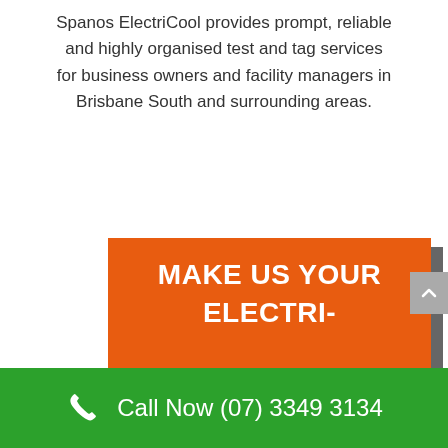Spanos ElectriCool provides prompt, reliable and highly organised test and tag services for business owners and facility managers in Brisbane South and surrounding areas.
MAKE US YOUR ELECTRI-CAN!
Call Now (07) 3349 3134